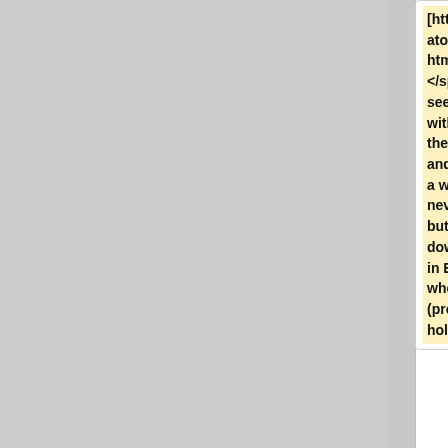[http://www.advogato.org/article/101.html Virtual Dub]. </span> Mplayer seems to get away with  distributing the Win32 DLLs and using them in a way Microsoft never intended, but their only download sites are in Eastern Europe, where the patents (probably) don't hold.
*<span class="plainlinks" style="font-weight:bold"> [http://www.propellerheads.se/technologies/rewire/index.cfm Rewire]